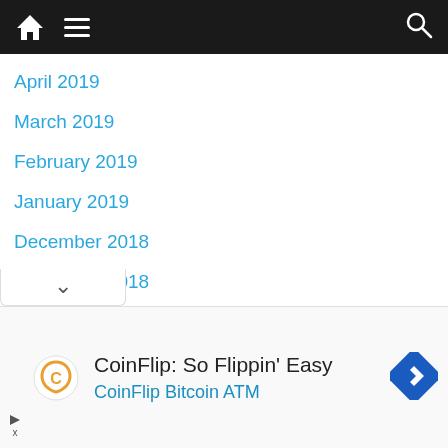Navigation bar with home, menu, and search icons
April 2019
March 2019
February 2019
January 2019
December 2018
November 2018
October 2018
September 2018
August 2018
July 2018
[Figure (screenshot): Advertisement for CoinFlip Bitcoin ATM with logo, text 'CoinFlip: So Flippin' Easy' and 'CoinFlip Bitcoin ATM', and a blue diamond navigation icon]